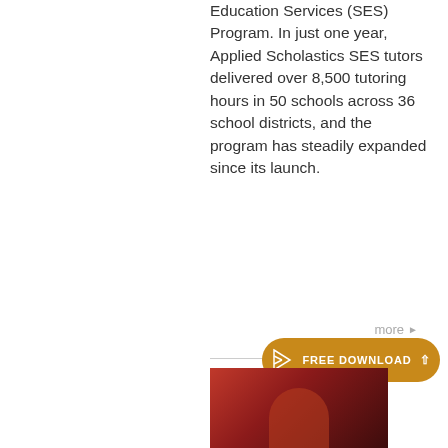Education Services (SES) Program. In just one year, Applied Scholastics SES tutors delivered over 8,500 tutoring hours in 50 schools across 36 school districts, and the program has steadily expanded since its launch.
more ▶
GRASS-ROOTS MOVEMENT IGNITES CHANGE WORLD LITERACY CRUSADE
[Figure (other): FREE DOWNLOAD button bar with icon and upward arrow, orange/brown rounded pill shape]
[Figure (photo): Partial photo of people, cropped at bottom of page, dark reddish tones]